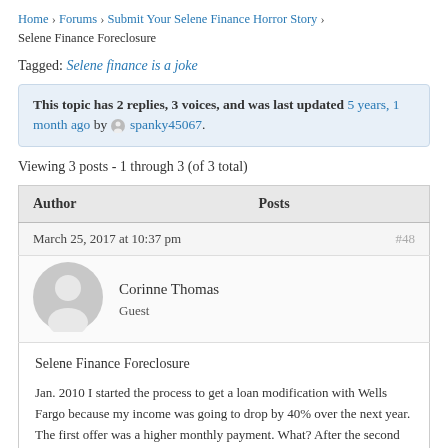Home › Forums › Submit Your Selene Finance Horror Story › Selene Finance Foreclosure
Tagged: Selene finance is a joke
This topic has 2 replies, 3 voices, and was last updated 5 years, 1 month ago by spanky45067.
Viewing 3 posts - 1 through 3 (of 3 total)
| Author | Posts |
| --- | --- |
| March 25, 2017 at 10:37 pm | #48 |
| Corinne Thomas
Guest |  |
| Selene Finance Foreclosure

Jan. 2010 I started the process to get a loan modification with Wells Fargo because my income was going to drop by 40% over the next year. The first offer was a higher monthly payment. What? After the second offer in Aug |  |